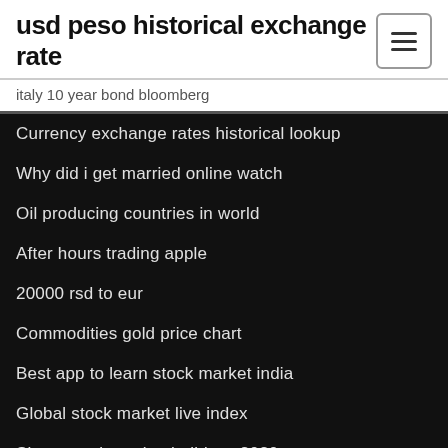usd peso historical exchange rate
italy 10 year bond bloomberg
Currency exchange rates historical lookup
Why did i get married online watch
Oil producing countries in world
After hours trading apple
20000 rsd to eur
Commodities gold price chart
Best app to learn stock market india
Global stock market live index
Share stock market holidays 2020
Valor dolar em real hoje